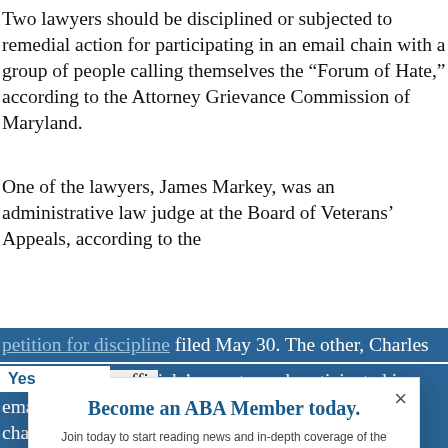Two lawyers should be disciplined or subjected to remedial action for participating in an email chain with a group of people calling themselves the “Forum of Hate,” according to the Attorney Grievance Commission of Maryland.
One of the lawyers, James Markey, was an administrative law judge at the Board of Veterans’ Appeals, according to the petition for discipline filed May 30. The other, Charles
[Figure (screenshot): Modal popup overlay on article page. Title: 'Become an ABA Member today.' Subtitle: 'Join today to start reading news and in-depth coverage of the profession from the ABA Journal.' Button: 'JOIN THE ABA'. Link: 'Already an ABA Member? Sign in'. There is an X close button in the top right.]
chains mocking officials’ accents, and participated in email chains using gay slurs.